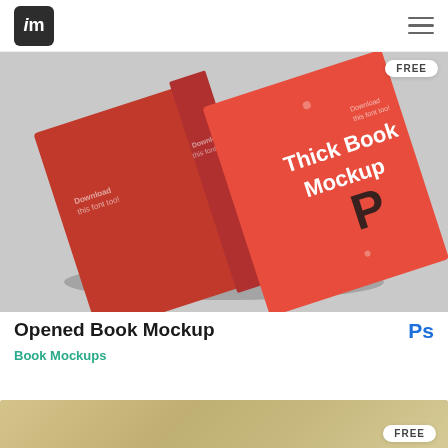im (logo) / hamburger menu
[Figure (photo): Red thick book mockup shown open at an angle on a light grey background, with 'Thick Book Mockup' text visible on the cover and a stylized P logo. A FREE badge appears in the top right.]
Opened Book Mockup
Ps
Book Mockups
[Figure (photo): Bottom strip showing a gold/beige gradient background with a FREE badge in the lower right corner.]